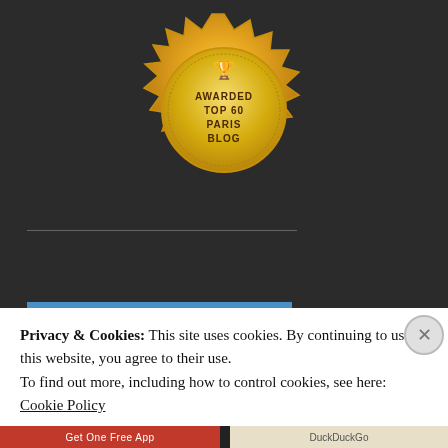[Figure (illustration): Gold badge seal with trophy icon at top and text 'AWARDED TOP 60 PARIS BLOG' on dark background]
[Figure (logo): WordPress 'Featured on Freshly Pressed' blue banner with WordPress logo circle and text]
Privacy & Cookies: This site uses cookies. By continuing to use this website, you agree to their use.
To find out more, including how to control cookies, see here: Cookie Policy
Close and accept